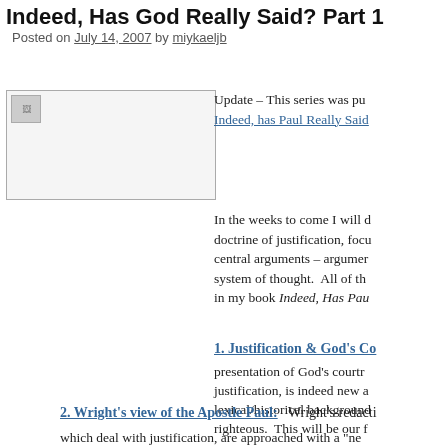Indeed, Has God Really Said? Part 1
Posted on July 14, 2007 by miykaeljb
[Figure (photo): Small image placeholder with broken image icon]
Update – This series was published... Indeed, has Paul Really Said...
In the weeks to come I will discuss the doctrine of justification, focusing on central arguments – arguments within a system of thought. All of this is treated in my book Indeed, Has Pau...
1. Justification & God's Co...
presentation of God's courtroom... justification, is indeed new a... lexical/historical background... righteous. This will be our f...
2. Wright's view of the Apostle Paul:
Wright's redact... which deal with justification, are approached with a "ne...